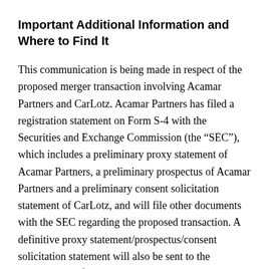Important Additional Information and Where to Find It
This communication is being made in respect of the proposed merger transaction involving Acamar Partners and CarLotz. Acamar Partners has filed a registration statement on Form S-4 with the Securities and Exchange Commission (the “SEC”), which includes a preliminary proxy statement of Acamar Partners, a preliminary prospectus of Acamar Partners and a preliminary consent solicitation statement of CarLotz, and will file other documents with the SEC regarding the proposed transaction. A definitive proxy statement/prospectus/consent solicitation statement will also be sent to the stockholders of Acamar Partners and CarLotz, seeking any required stockholder approval. Before making any voting or investment